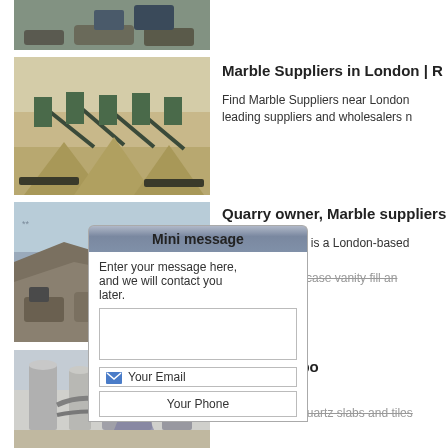[Figure (photo): Industrial quarry/mining equipment on rocky terrain (partial, top of page)]
[Figure (photo): Aggregate processing plant with conveyors and stockpiles in desert setting]
[Figure (photo): Open quarry with excavated rock and machinery]
[Figure (photo): Industrial milling/grinding equipment with silos and pipes]
Marble Suppliers in London | R
Find Marble Suppliers near London leading suppliers and wholesalers n
Quarry owner, Marble suppliers
Marble Italia Ltd is a London-based projects. kitchen top staircase vanity fill an
Imperial po
Imperial M ers limestone and quartz slabs and tiles